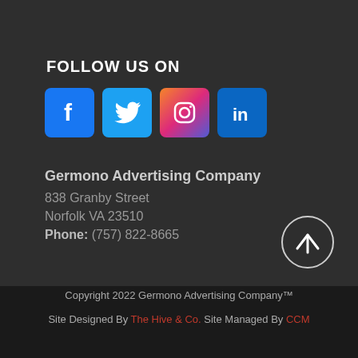FOLLOW US ON
[Figure (illustration): Social media icons: Facebook (blue), Twitter (blue), Instagram (gradient pink/purple), LinkedIn (blue)]
Germono Advertising Company
838 Granby Street
Norfolk VA 23510
Phone: (757) 822-8665
[Figure (illustration): Back to top arrow button - circle with upward arrow]
Copyright 2022 Germono Advertising Company™
Site Designed By The Hive & Co. Site Managed By CCM